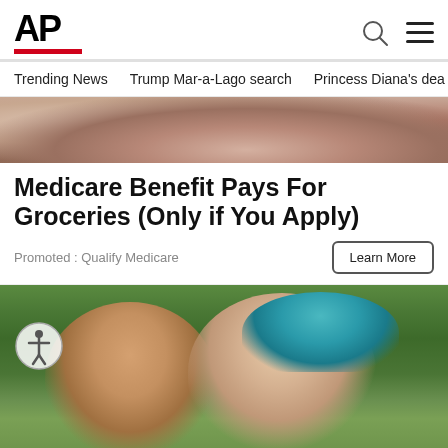AP
Trending News   Trump Mar-a-Lago search   Princess Diana's dea
[Figure (photo): Partial image strip showing hands/fabric at top of article]
Medicare Benefit Pays For Groceries (Only if You Apply)
Promoted : Qualify Medicare
Learn More
[Figure (photo): Two smiling women outdoors, one with dark short hair and one with teal/blue hair, in front of green trees]